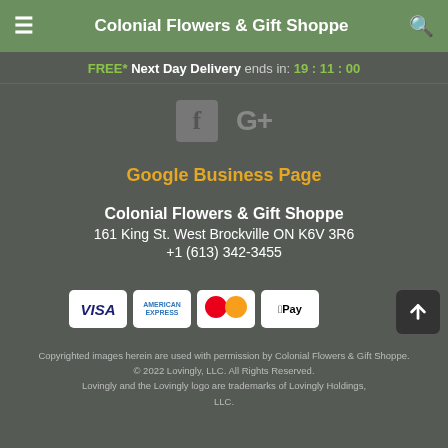Colonial Flowers & Gift Shoppe
FREE* Next Day Delivery ends in: 19:11:00
[Figure (logo): Facebook and Google+ social media icons]
Google Business Page
Colonial Flowers & Gift Shoppe
161 King St. West Brockville ON K6V 3R6
+1 (613) 342-3455
[Figure (other): Payment method icons: Visa, American Express, Mastercard, Apple Pay]
Copyrighted images herein are used with permission by Colonial Flowers & Gift Shoppe.
© 2022 Lovingly, LLC. All Rights Reserved.
Lovingly and the Lovingly logo are trademarks of Lovingly Holdings, LLC.